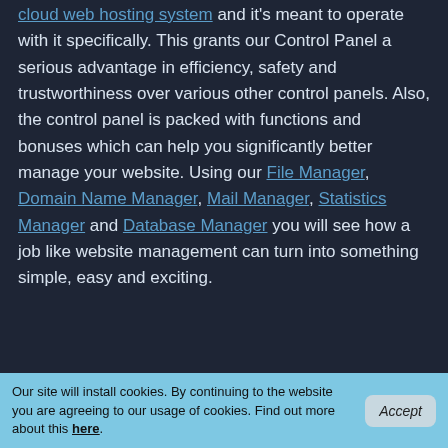cloud web hosting system and it's meant to operate with it specifically. This grants our Control Panel a serious advantage in efficiency, safety and trustworthiness over various other control panels. Also, the control panel is packed with functions and bonuses which can help you significantly better manage your website. Using our File Manager, Domain Name Manager, Mail Manager, Statistics Manager and Database Manager you will see how a job like website management can turn into something simple, easy and exciting.
[Figure (illustration): Cloud icon inside a rounded rectangle app icon, dark background section with a chat bubble labeled Live Chat]
Our site will install cookies. By continuing to the website you are agreeing to our usage of cookies. Find out more about this here.